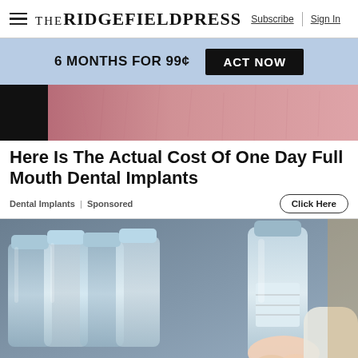THE RIDGEFIELD PRESS | Subscribe | Sign In
6 MONTHS FOR 99¢  ACT NOW
[Figure (photo): Close-up of skin/lip area, dark background on left]
Here Is The Actual Cost Of One Day Full Mouth Dental Implants
Dental Implants | Sponsored   Click Here
[Figure (photo): Person's hand picking up a water bottle from a shelf of water bottles in a store]